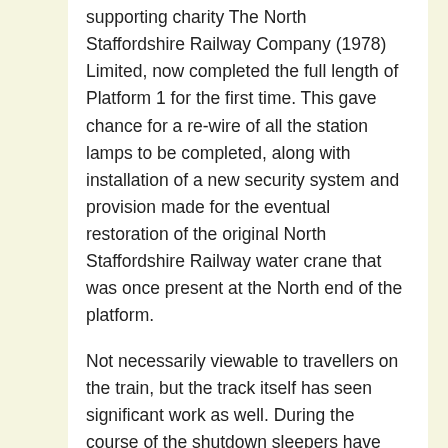supporting charity The North Staffordshire Railway Company (1978) Limited, now completed the full length of Platform 1 for the first time. This gave chance for a re-wire of all the station lamps to be completed, along with installation of a new security system and provision made for the eventual restoration of the original North Staffordshire Railway water crane that was once present at the North end of the platform.
Not necessarily viewable to travellers on the train, but the track itself has seen significant work as well. During the course of the shutdown sleepers have been taken out and replaced with new between Froghall and Consall, and over a  1,000 tonnes of ballast dropped to pack these in securely and ensure the safe passage of trains.
“It’s been an exceptional long winter this year, beyond what we could ever imagined. But the volunteers have done themselves proud, and the community now has